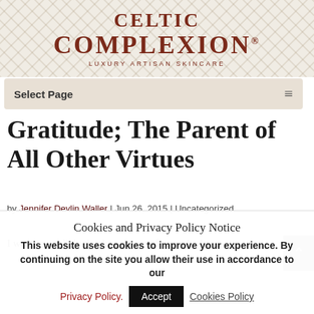Celtic Complexion® Luxury Artisan Skincare
Select Page
Gratitude; The Parent of All Other Virtues
by Jennifer Devlin Waller | Jun 26, 2015 | Uncategorized
I want to publicly thank each one of you who have
Cookies and Privacy Policy Notice
This website uses cookies to improve your experience. By continuing on the site you allow their use in accordance to our Privacy Policy. Accept Cookies Policy